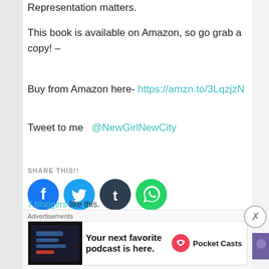Representation matters.
This book is available on Amazon, so go grab a copy! –
Buy from Amazon here- https://amzn.to/3LqzjzN
Tweet to me  @NewGirlNewCity
SHARE THIS!!
[Figure (infographic): Four social media share buttons: Facebook (blue circle with f), Twitter (light blue circle with bird), Tumblr (dark circle with t), WhatsApp (green circle with phone)]
LIKE THIS:
[Figure (infographic): Like button and 7 blogger avatar thumbnails]
7 bloggers like this.
Advertisements
[Figure (screenshot): Pocket Casts advertisement banner: Your next favorite podcast is here.]